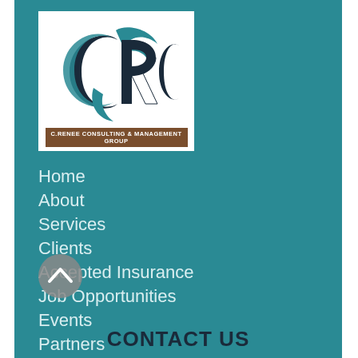[Figure (logo): CRC C.Renee Consulting & Management Group logo with teal and dark navy stylized CRC letters on white background with brown bar at bottom]
Home
About
Services
Clients
Accepted Insurance
Job Opportunities
Events
Partners
[Figure (other): Gray circular scroll-to-top button with upward chevron arrow]
CONTACT US